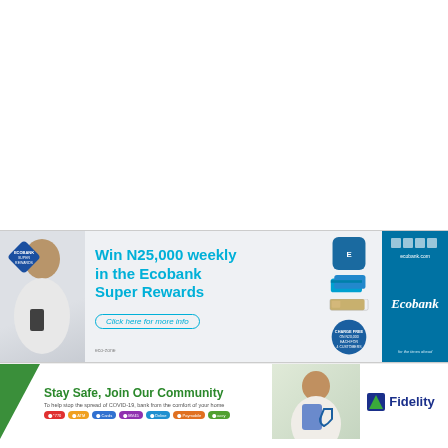[Figure (illustration): Ecobank advertisement banner: man holding smartphone, blue diamond Ecobank Rewards logo, text 'Win N25,000 weekly in the Ecobank Super Rewards', 'Click here for more info' button, app icons, blue sidebar with Ecobank branding and website]
[Figure (illustration): Fidelity Bank advertisement banner: green triangle logo, 'Stay Safe, Join Our Community', text 'To help stop the spread of COVID-19, bank from the comfort of your home', service icons row, person holding credit card photo, Fidelity Bank logo]